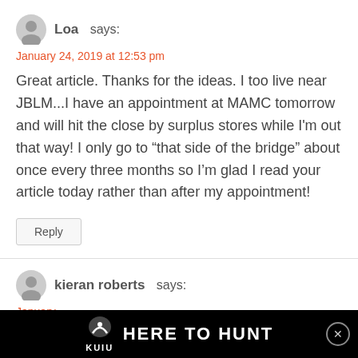Loa says:
January 24, 2019 at 12:53 pm
Great article. Thanks for the ideas. I too live near JBLM...I have an appointment at MAMC tomorrow and will hit the close by surplus stores while I'm out that way! I only go to “that side of the bridge” about once every three months so I'm glad I read your article today rather than after my appointment!
Reply
kieran roberts says:
January
I live i
[Figure (infographic): KUIU HERE TO HUNT advertisement banner at bottom of page]